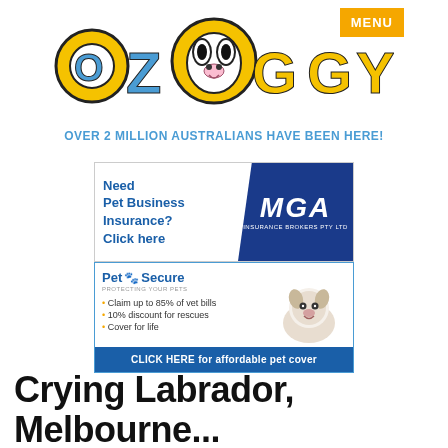[Figure (logo): OzDoggy logo with stylized blue and yellow letters, dog illustration in the O, and MENU badge in orange/yellow top right]
OVER 2 MILLION AUSTRALIANS HAVE BEEN HERE!
[Figure (infographic): MGA Insurance Brokers PTY LTD ad banner: 'Need Pet Business Insurance? Click here' with MGA logo on dark blue background]
[Figure (infographic): PetSecure ad: Claim up to 85% of vet bills, 10% discount for rescues, Cover for life. CLICK HERE for affordable pet cover]
Crying Labrador, Melbourne, VIC